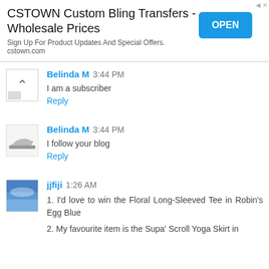[Figure (screenshot): Ad banner for CSTOWN Custom Bling Transfers - Wholesale Prices with OPEN button]
Belinda M 3:44 PM
I am a subscriber
Reply
Belinda M 3:44 PM
I follow your blog
Reply
jjfiji 1:26 AM
1. I'd love to win the Floral Long-Sleeved Tee in Robin's Egg Blue
2. My favourite item is the Supa' Scroll Yoga Skirt in